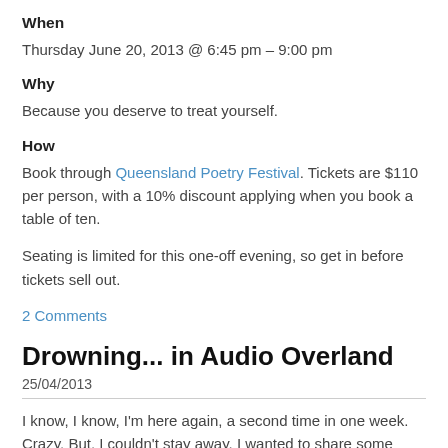When
Thursday June 20, 2013 @ 6:45 pm – 9:00 pm
Why
Because you deserve to treat yourself.
How
Book through Queensland Poetry Festival. Tickets are $110 per person, with a 10% discount applying when you book a table of ten.
Seating is limited for this one-off evening, so get in before tickets sell out.
2 Comments
Drowning... in Audio Overland
25/04/2013
I know, I know, I'm here again, a second time in one week. Crazy. But, I couldn't stay away. I wanted to share some exciting news.